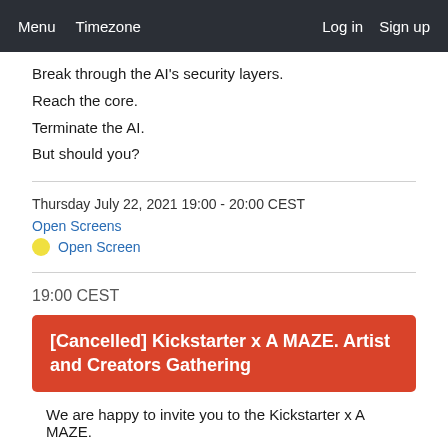Menu  Timezone  Log in  Sign up
Break through the AI's security layers.
Reach the core.
Terminate the AI.
But should you?
Thursday July 22, 2021 19:00 - 20:00 CEST
Open Screens
Open Screen
19:00 CEST
[Cancelled] Kickstarter x A MAZE. Artist and Creators Gathering
We are happy to invite you to the Kickstarter x A MAZE.